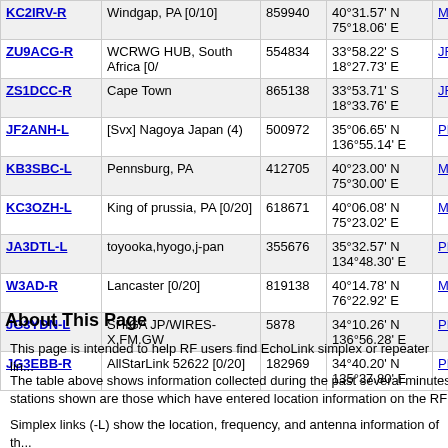| Callsign | Location | Node | Coordinates | Grid |  |
| --- | --- | --- | --- | --- | --- |
| KC2IRV-R | Windgap, PA [0/10] | 859940 | 40°31.57' N 75°18.06' E | MN76pu | 762 |
| ZU9ACG-R | WCRWG HUB, South Africa [0/ | 554834 | 33°58.22' S 18°27.73' E | JF96fa | 762 |
| ZS1DCC-R | Cape Town | 865138 | 33°53.71' S 18°33.76' E | JF96gc | 763 |
| JF2ANH-L | [Svx] Nagoya Japan (4) | 500972 | 35°06.65' N 136°55.14' E | PM85lc | 764 |
| KB3SBC-L | Pennsburg, PA | 412705 | 40°23.00' N 75°30.00' E | MN70sj | 765 |
| KC3OZH-L | King of prussia, PA [0/20] | 618671 | 40°06.08' N 75°23.02' E | MN70qc | 767 |
| JA3DTL-L | toyooka,hyogo,j-pan | 355676 | 35°32.57' N 134°48.30' E | PM75jn | 768 |
| W3AD-R | Lancaster [0/20] | 819138 | 40°14.78' N 76°22.92' E | MN80ef | 768 |
| JG3YDN-L | SHIGA JP/WIRES-X.FM.GW | 5878 | 34°10.26' N 136°56.28' E | PM84le | 769 |
| JG3EBB-R | AllStarLink 52622 [0/20] | 182969 | 34°40.20' N 135°37.80' E | PM74tq | 770 |
About This Page
This page is intended to help RF users find EchoLink simplex or repeater lin...
The table above shows information collected during the past several minutes stations shown are those which have entered location information on the RF
Simplex links (-L) show the location, frequency, and antenna information of th...